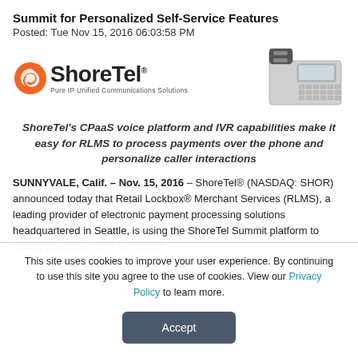Summit for Personalized Self-Service Features
Posted: Tue Nov 15, 2016 06:03:58 PM
[Figure (logo): ShoreTel logo with orange swirl icon and text 'ShoreTel / Pure IP Unified Communications Solutions']
[Figure (photo): ShoreTel IP desk telephone handset]
ShoreTel's CPaaS voice platform and IVR capabilities make it easy for RLMS to process payments over the phone and personalize caller interactions
SUNNYVALE, Calif. – Nov. 15, 2016 – ShoreTel® (NASDAQ: SHOR) announced today that Retail Lockbox® Merchant Services (RLMS), a leading provider of electronic payment processing solutions headquartered in Seattle, is using the ShoreTel Summit platform to accept payments over the phone
This site uses cookies to improve your user experience. By continuing to use this site you agree to the use of cookies. View our Privacy Policy to learn more.
Accept